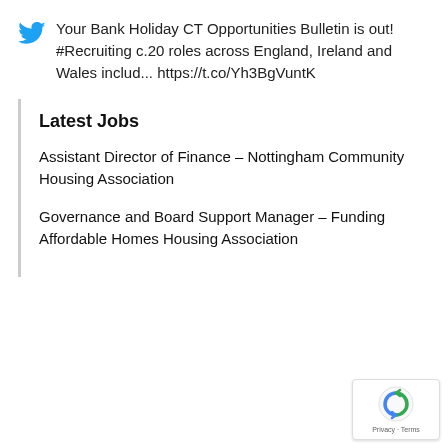Your Bank Holiday CT Opportunities Bulletin is out! #Recruiting c.20 roles across England, Ireland and Wales includ... https://t.co/Yh3BgVuntK
Latest Jobs
Assistant Director of Finance – Nottingham Community Housing Association
Governance and Board Support Manager – Funding Affordable Homes Housing Association